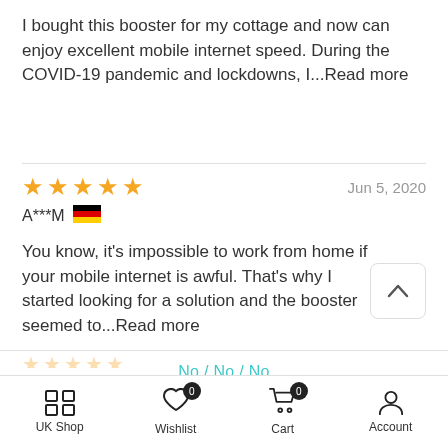I bought this booster for my cottage and now can enjoy excellent mobile internet speed. During the COVID-19 pandemic and lockdowns, I...Read more
Jun 5, 2020
A***M

You know, it's impossible to work from home if your mobile internet is awful. That's why I started looking for a solution and the booster seemed to...Read more
No / No / No
ADD TO CART
UK Shop
Wishlist
Cart
Account